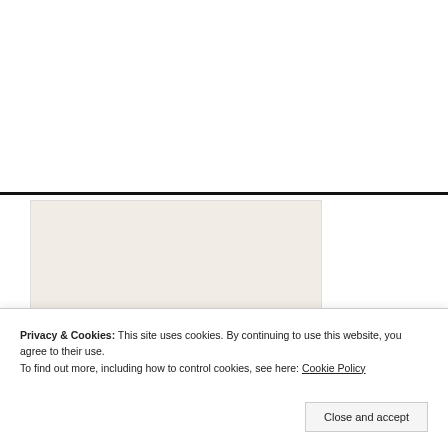[Figure (other): Amazon Prime 'try before you buy' advertisement banner with beige/cream background showing 'The Main Events - Partywear to try' text]
Privacy & Cookies: This site uses cookies. By continuing to use this website, you agree to their use. To find out more, including how to control cookies, see here: Cookie Policy
Close and accept